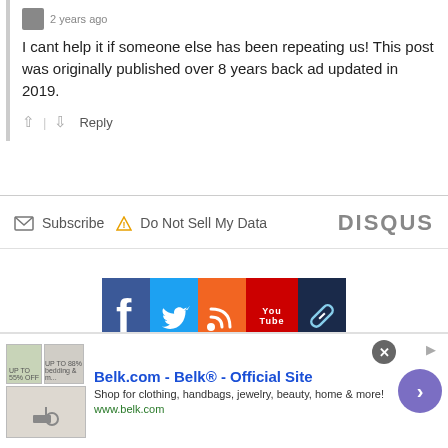2 years ago
I cant help it if someone else has been repeating us! This post was originally published over 8 years back ad updated in 2019.
Reply
Subscribe  Do Not Sell My Data  DISQUS
[Figure (infographic): Social media icon bar with Facebook (blue), Twitter (light blue), RSS (orange), YouTube (red), and link/chain icon (dark navy) buttons]
[Figure (infographic): Advertisement banner for Belk.com - Belk® - Official Site. Shop for clothing, handbags, jewelry, beauty, home & more! www.belk.com]